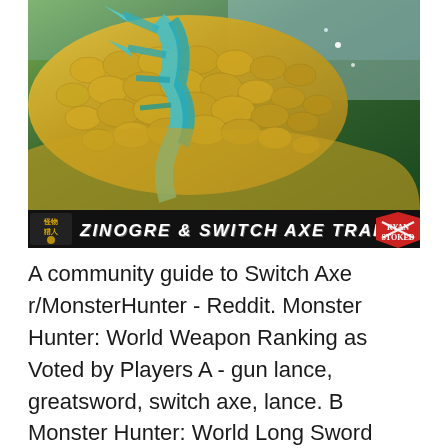[Figure (screenshot): Monster Hunter game screenshot showing a yellow-gold scaled monster (Zinogre) with teal/blue wing details against a green forest background. Below the screenshot is a black title bar reading 'ZINOGRE & SWITCH AXE TRAILER' in white stylized font with game logos on each side.]
A community guide to Switch Axe r/MonsterHunter - Reddit. Monster Hunter: World Weapon Ranking as Voted by Players A - gun lance, greatsword, switch axe, lance. B Monster Hunter: World Long Sword Build Guide., Read our guide to Monster Hunter: World weapons. The switch axeвЂ™s phial mechanic makes it an ideal candidate for builds focused around elemental damage and